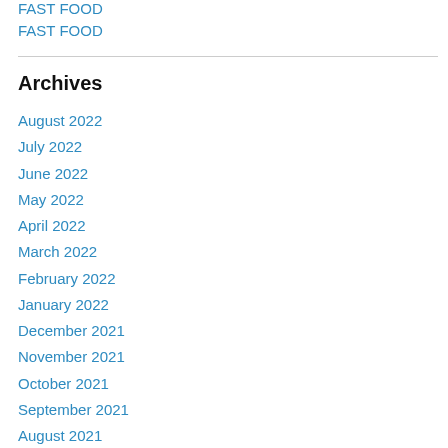FAST FOOD
FAST FOOD
Archives
August 2022
July 2022
June 2022
May 2022
April 2022
March 2022
February 2022
January 2022
December 2021
November 2021
October 2021
September 2021
August 2021
July 2021
June 2021